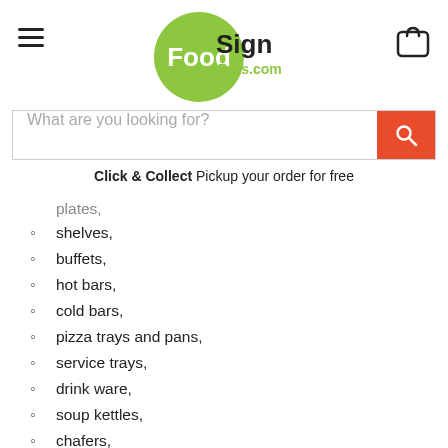FoodSign Pros.com
Click & Collect Pickup your order for free
plates,
shelves,
buffets,
hot bars,
cold bars,
pizza trays and pans,
service trays,
drink ware,
soup kettles,
chafers,
crocks,
and more,